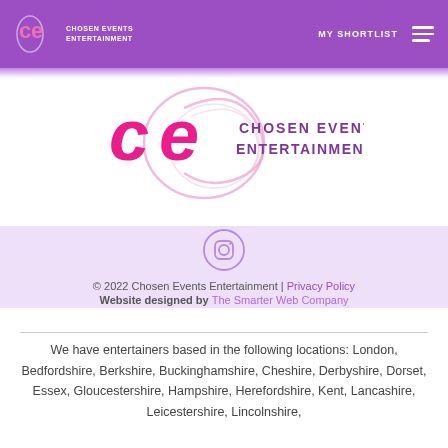CHOSEN EVENTS ENTERTAINMENT | MY SHORTLIST
[Figure (logo): Chosen Events Entertainment logo with pink CE letters and swirl design]
[Figure (illustration): Instagram icon in a circle]
© 2022 Chosen Events Entertainment | Privacy Policy
Website designed by The Smarter Web Company
We have entertainers based in the following locations: London, Bedfordshire, Berkshire, Buckinghamshire, Cheshire, Derbyshire, Dorset, Essex, Gloucestershire, Hampshire, Herefordshire, Kent, Lancashire, Leicestershire, Lincolnshire, Middlesex, ...